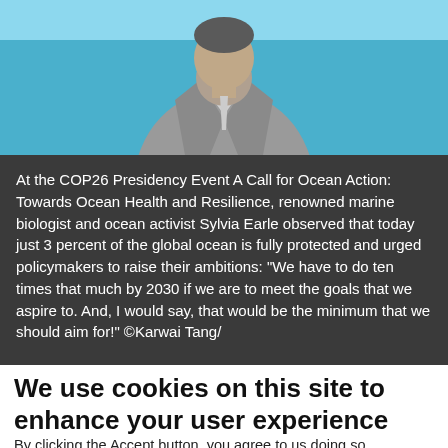[Figure (photo): Photo of a person in a grey suit seated, with a blue/teal background, likely at a conference event.]
At the COP26 Presidency Event A Call for Ocean Action: Towards Ocean Health and Resilience, renowned marine biologist and ocean activist Sylvia Earle observed that today just 3 percent of the global ocean is fully protected and urged policymakers to raise their ambitions: “We have to do ten times that much by 2030 if we are to meet the goals that we aspire to. And, I would say, that would be the minimum that we should aim for!” ©Karwai Tang/
We use cookies on this site to enhance your user experience
By clicking the Accept button, you agree to us doing so.
Essential
Essential cookies enable basic functions and are necessary